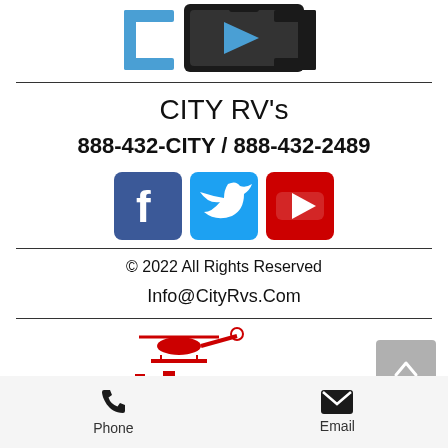[Figure (logo): City RV logo at top with blue and black design]
CITY RV's
888-432-CITY / 888-432-2489
[Figure (illustration): Social media icons: Facebook, Twitter, YouTube]
© 2022 All Rights Reserved
Info@CityRvs.Com
[Figure (logo): City Search & Rescue logo with red helicopter and city skyline]
Phone   Email